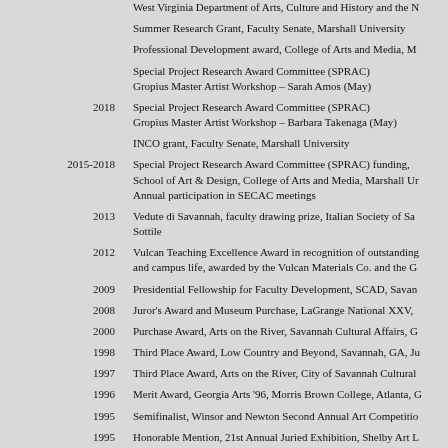West Virginia Department of Arts, Culture and History and the N
Summer Research Grant, Faculty Senate, Marshall University
Professional Development award, College of Arts and Media, M
Special Project Research Award Committee (SPRAC) Gropius Master Artist Workshop – Sarah Amos (May)
2018 Special Project Research Award Committee (SPRAC) Gropius Master Artist Workshop – Barbara Takenaga (May)
INCO grant, Faculty Senate, Marshall University
2015-2018 Special Project Research Award Committee (SPRAC) funding, School of Art & Design, College of Arts and Media, Marshall Ur Annual participation in SECAC meetings
2013 Vedute di Savannah, faculty drawing prize, Italian Society of Sa Sottile
2012 Vulcan Teaching Excellence Award in recognition of outstanding and campus life, awarded by the Vulcan Materials Co. and the G
2009 Presidential Fellowship for Faculty Development, SCAD, Savan
2008 Juror's Award and Museum Purchase, LaGrange National XXV,
2000 Purchase Award, Arts on the River, Savannah Cultural Affairs, G
1998 Third Place Award, Low Country and Beyond, Savannah, GA, Ju
1997 Third Place Award, Arts on the River, City of Savannah Cultural
1996 Merit Award, Georgia Arts '96, Morris Brown College, Atlanta, G
1995 Semifinalist, Winsor and Newton Second Annual Art Competitio
1995 Honorable Mention, 21st Annual Juried Exhibition, Shelby Art L